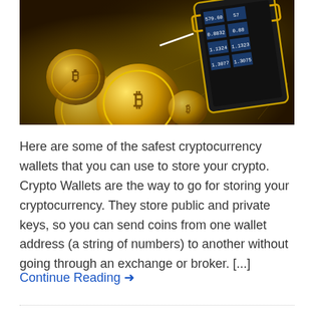[Figure (photo): Gold-toned photo of cryptocurrency (Bitcoin) coins and a black digital wallet/calculator device showing trading numbers (579.60, 0.8832, 1.1324, 1.3077, 1.3075, 1.1323) on a dark background with network/blockchain geometric lines.]
Here are some of the safest cryptocurrency wallets that you can use to store your crypto.  Crypto Wallets are the way to go for storing your cryptocurrency. They store public and private keys, so you can send coins from one wallet address (a string of numbers) to another without going through an exchange or broker.  [...]
Continue Reading →